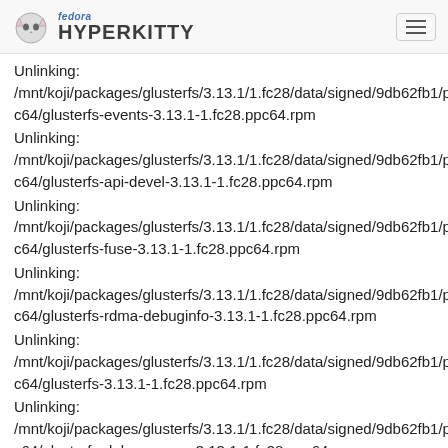fedora HYPERKITTY
Unlinking: /mnt/koji/packages/glusterfs/3.13.1/1.fc28/data/signed/9db62fb1/ppc64/glusterfs-events-3.13.1-1.fc28.ppc64.rpm
Unlinking: /mnt/koji/packages/glusterfs/3.13.1/1.fc28/data/signed/9db62fb1/ppc64/glusterfs-api-devel-3.13.1-1.fc28.ppc64.rpm
Unlinking: /mnt/koji/packages/glusterfs/3.13.1/1.fc28/data/signed/9db62fb1/ppc64/glusterfs-fuse-3.13.1-1.fc28.ppc64.rpm
Unlinking: /mnt/koji/packages/glusterfs/3.13.1/1.fc28/data/signed/9db62fb1/ppc64/glusterfs-rdma-debuginfo-3.13.1-1.fc28.ppc64.rpm
Unlinking: /mnt/koji/packages/glusterfs/3.13.1/1.fc28/data/signed/9db62fb1/ppc64/glusterfs-3.13.1-1.fc28.ppc64.rpm
Unlinking: /mnt/koji/packages/glusterfs/3.13.1/1.fc28/data/signed/9db62fb1/ppc64/glusterfs-debugsource-3.13.1-1.fc28.ppc64.rpm
Unlinking: /mnt/koji/packages/glusterfs/3.13.1/1.fc28/data/signed/9db62fb1/pp